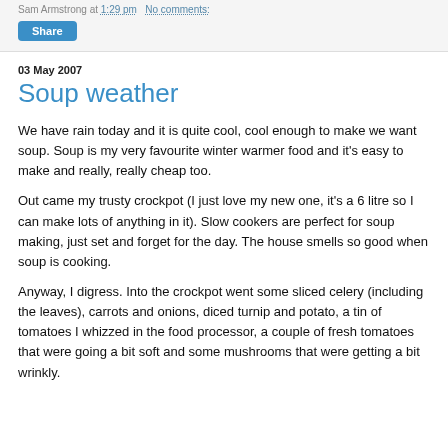Sam Armstrong at 1:29 pm   No comments:
Share
03 May 2007
Soup weather
We have rain today and it is quite cool, cool enough to make we want soup. Soup is my very favourite winter warmer food and it's easy to make and really, really cheap too.
Out came my trusty crockpot (I just love my new one, it's a 6 litre so I can make lots of anything in it). Slow cookers are perfect for soup making, just set and forget for the day. The house smells so good when soup is cooking.
Anyway, I digress. Into the crockpot went some sliced celery (including the leaves), carrots and onions, diced turnip and potato, a tin of tomatoes I whizzed in the food processor, a couple of fresh tomatoes that were going a bit soft and some mushrooms that were getting a bit wrinkly.